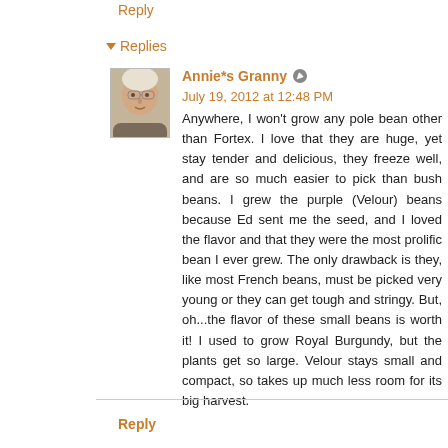Reply
▾ Replies
Annie*s Granny  July 19, 2012 at 12:48 PM
[Figure (photo): Avatar photo of Annie*s Granny, an elderly woman]
Anywhere, I won't grow any pole bean other than Fortex. I love that they are huge, yet stay tender and delicious, they freeze well, and are so much easier to pick than bush beans. I grew the purple (Velour) beans because Ed sent me the seed, and I loved the flavor and that they were the most prolific bean I ever grew. The only drawback is they, like most French beans, must be picked very young or they can get tough and stringy. But, oh...the flavor of these small beans is worth it! I used to grow Royal Burgundy, but the plants get so large. Velour stays small and compact, so takes up much less room for its big harvest.
Reply